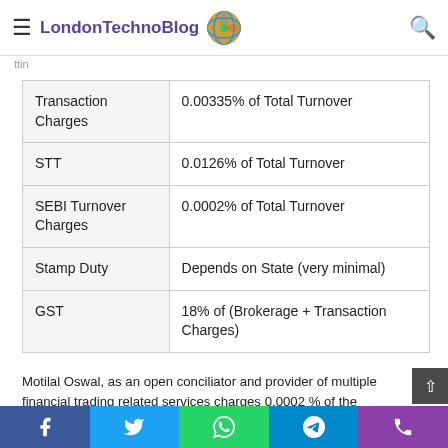LondonTechnoBlog
| Charge Type | Rate |
| --- | --- |
| Transaction Charges | 0.00335% of Total Turnover |
| STT | 0.0126% of Total Turnover |
| SEBI Turnover Charges | 0.0002% of Total Turnover |
| Stamp Duty | Depends on State (very minimal) |
| GST | 18% of (Brokerage + Transaction Charges) |
Motilal Oswal, as an open conciliator and provider of multiple financial trading related services charges 0.0002 % of the overall turnover value in terms of SEBI Turnover Charges. 18